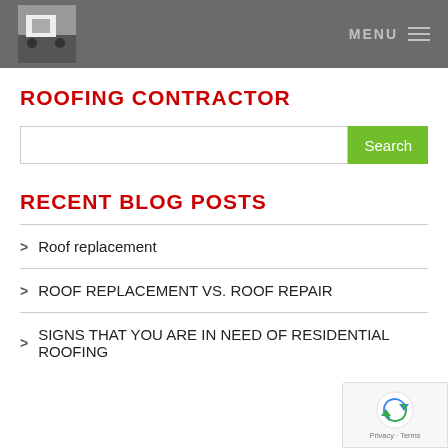MENU
ROOFING CONTRACTOR
[Figure (screenshot): Search input field with green Search button]
RECENT BLOG POSTS
Roof replacement
ROOF REPLACEMENT VS. ROOF REPAIR
SIGNS THAT YOU ARE IN NEED OF RESIDENTIAL ROOFING